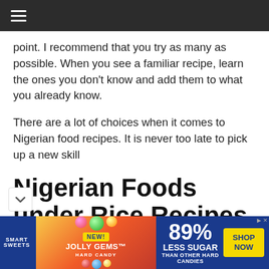Navigation bar with hamburger menu
point. I recommend that you try as many as possible. When you see a familiar recipe, learn the ones you don't know and add them to what you already know.
There are a lot of choices when it comes to Nigerian food recipes. It is never too late to pick up a new skill
Nigerian Foods under Rice Recipes
[Figure (photo): Advertisement banner for Smart Sweets Jolly Gems Hard Candy - 89% Less Sugar than other hard candies, with Shop Now button]